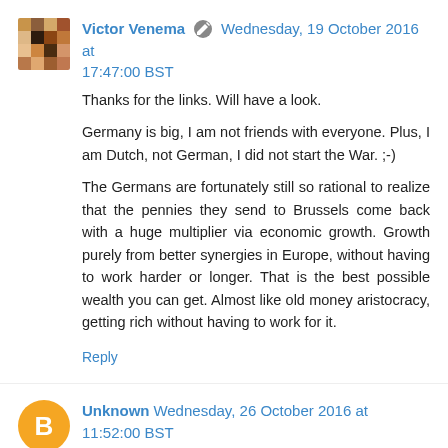Victor Venema  Wednesday, 19 October 2016 at 17:47:00 BST
Thanks for the links. Will have a look.
Germany is big, I am not friends with everyone. Plus, I am Dutch, not German, I did not start the War. ;-)
The Germans are fortunately still so rational to realize that the pennies they send to Brussels come back with a huge multiplier via economic growth. Growth purely from better synergies in Europe, without having to work harder or longer. That is the best possible wealth you can get. Almost like old money aristocracy, getting rich without having to work for it.
Reply
Unknown  Wednesday, 26 October 2016 at 11:52:00 BST
Victor